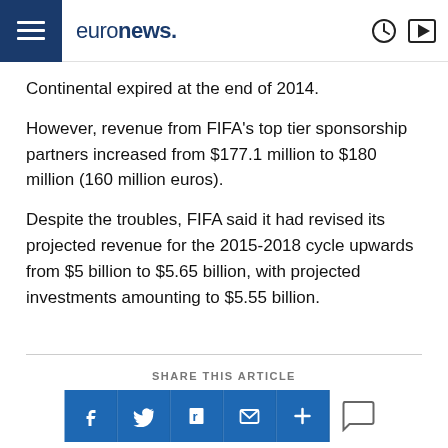euronews.
Continental expired at the end of 2014.
However, revenue from FIFA's top tier sponsorship partners increased from $177.1 million to $180 million (160 million euros).
Despite the troubles, FIFA said it had revised its projected revenue for the 2015-2018 cycle upwards from $5 billion to $5.65 billion, with projected investments amounting to $5.55 billion.
SHARE THIS ARTICLE